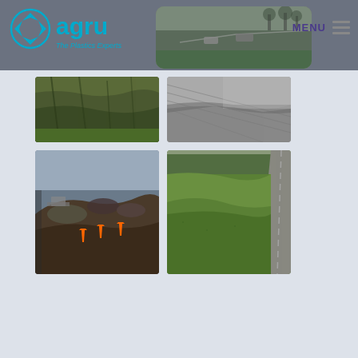[Figure (logo): AGRU logo with circular icon and text 'agru - The Plastics Experts']
[Figure (photo): Aerial photo of road/parking area with vehicles]
MENU
[Figure (photo): Green textured geomembrane liner installed on slope]
[Figure (photo): Gray smooth geomembrane liner installation]
[Figure (photo): Landfill or excavation site with orange cones and construction equipment]
[Figure (photo): Aerial view of green grassy field/slope alongside roadway]